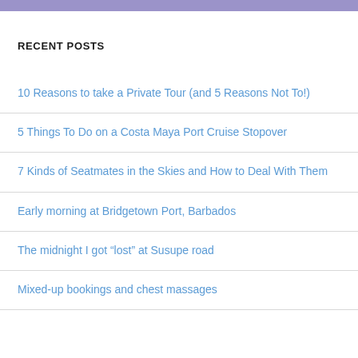RECENT POSTS
10 Reasons to take a Private Tour (and 5 Reasons Not To!)
5 Things To Do on a Costa Maya Port Cruise Stopover
7 Kinds of Seatmates in the Skies and How to Deal With Them
Early morning at Bridgetown Port, Barbados
The midnight I got “lost” at Susupe road
Mixed-up bookings and chest massages